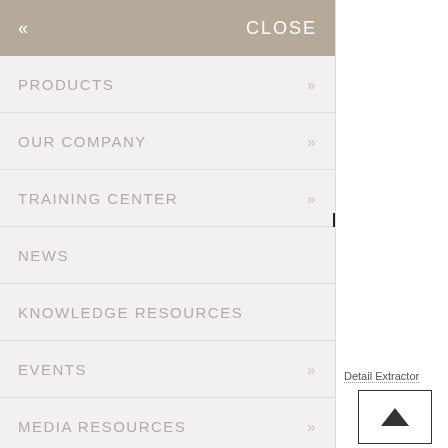CLOSE
PRODUCTS
OUR COMPANY
TRAINING CENTER
NEWS
KNOWLEDGE RESOURCES
EVENTS
MEDIA RESOURCES
CORPORATE ACCOUNTS
Detail Extractor